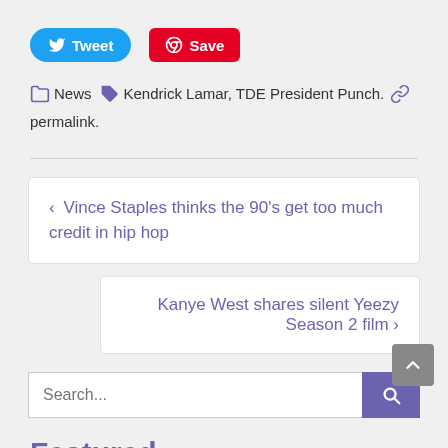[Figure (other): Tweet and Save share buttons]
News  Kendrick Lamar, TDE President Punch.  permalink.
‹ Vince Staples thinks the 90's get too much credit in hip hop
Kanye West shares silent Yeezy Season 2 film ›
Search...
Featured